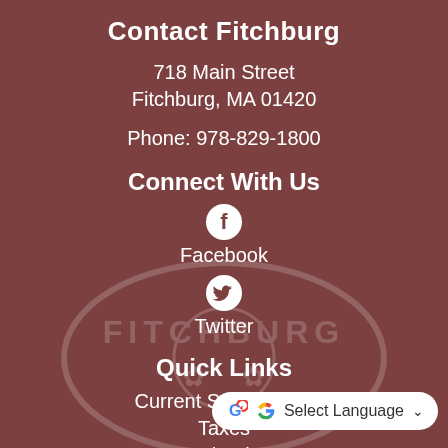Contact Fitchburg
718 Main Street
Fitchburg, MA 01420
Phone: 978-829-1800
Connect With Us
[Figure (illustration): Facebook social media icon (white circle with Facebook logo)]
Facebook
[Figure (illustration): Twitter social media icon (white circle with Twitter bird logo)]
Twitter
Quick Links
Current Solicitations
Taxes
Schools